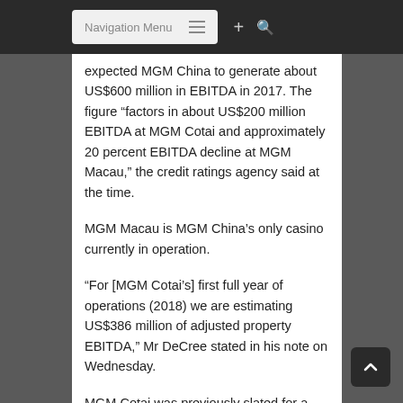Navigation Menu
expected MGM China to generate about US$600 million in EBITDA in 2017. The figure “factors in about US$200 million EBITDA at MGM Cotai and approximately 20 percent EBITDA decline at MGM Macau,” the credit ratings agency said at the time.
MGM Macau is MGM China’s only casino currently in operation.
“For [MGM Cotai’s] first full year of operations (2018) we are estimating US$386 million of adjusted property EBITDA,” Mr DeCree stated in his note on Wednesday.
MGM Cotai was previously slated for a fourth-quarter 2016 launch. The construction budget for MGM Cotai has been described as HKD24 billion (US$3.1 billion), excluding land costs and capitalised interest.